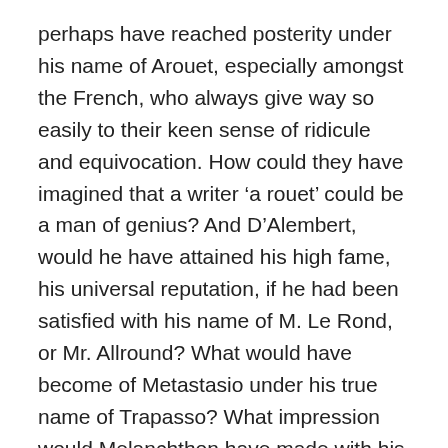perhaps have reached posterity under his name of Arouet, especially amongst the French, who always give way so easily to their keen sense of ridicule and equivocation. How could they have imagined that a writer 'a rouet' could be a man of genius? And D'Alembert, would he have attained his high fame, his universal reputation, if he had been satisfied with his name of M. Le Rond, or Mr. Allround? What would have become of Metastasio under his true name of Trapasso? What impression would Melanchthon have made with his name of Schwarzerd? Would he then have dared to raise the voice of a moralist philosopher, of a reformer of the Eucharist, and so many other holy things? Would not M. de Beauharnais have caused some persons to laugh and others to blush if he had kept his